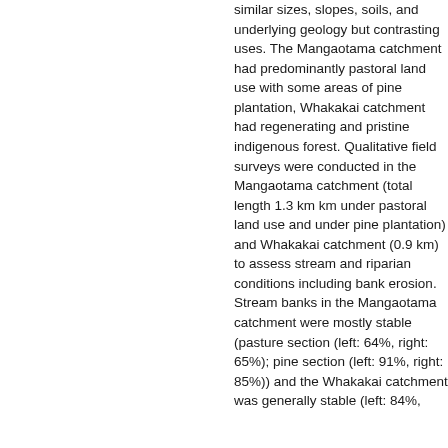similar sizes, slopes, soils, and underlying geology but contrasting uses. The Mangaotama catchment had predominantly pastoral land use with some areas of pine plantation, Whakakai catchment had regenerating and pristine indigenous forest. Qualitative field surveys were conducted in the Mangaotama catchment (total length 1.3 km, km under pastoral land use and under pine plantation) and Whakakai catchment (0.9 km) to assess stream and riparian conditions including bank erosion. Stream banks in the Mangaotama catchment were mostly stable (pasture section (left: 64%, right: 65%); pine section (left: 91%, right: 85%)) and the Whakakai catchment was generally stable (left: 84%,